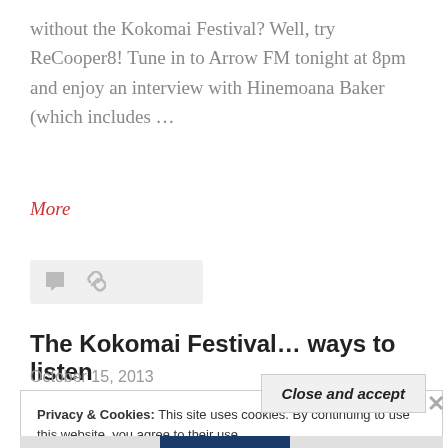without the Kokomai Festival?  Well, try ReCooper8!  Tune in to Arrow FM tonight at 8pm and enjoy an interview with Hinemoana Baker (which includes …
More
[Figure (other): Icon bar with comment bubble icon and link icon on light grey background]
The Kokomai Festival… ways to listen
October 15, 2013
Privacy & Cookies: This site uses cookies. By continuing to use this website, you agree to their use.
To find out more, including how to control cookies, see here: Cookie Policy
Close and accept